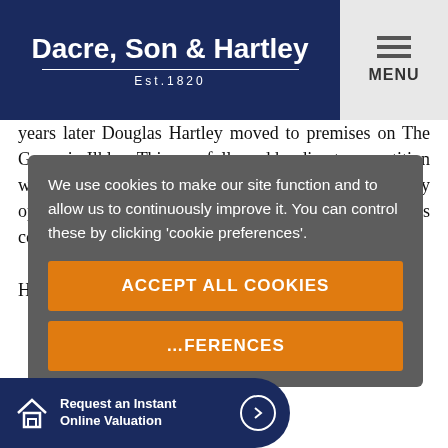Dacre, Son & Hartley Est.1820
years later Douglas Hartley moved to premises on The Grove in Ilkley. This was followed by direct competition with Douglas Smallwood's business when Hartley opened an office in Otley, virtually opposite his competitor. In 1936 th... & Ha...
We use cookies to make our site function and to allow us to continuously improve it. You can control these by clicking 'cookie preferences'.
ACCEPT ALL COOKIES
...FERENCES
In... ss fo... ne ss ne nd ag... of industrial and commercial premises. New areas of expertise
Request an Instant Online Valuation →